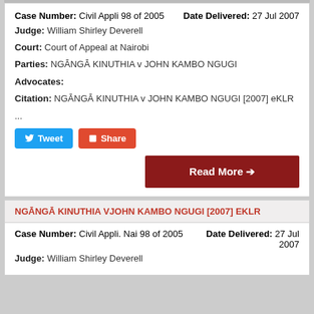Case Number: Civil Appli 98 of 2005   Date Delivered: 27 Jul 2007
Judge: William Shirley Deverell
Court: Court of Appeal at Nairobi
Parties: NGĀ­NGĀ­ KINUTHIA v JOHN KAMBO NGUGI
Advocates:
Citation: NGĀ­NGĀ­ KINUTHIA v JOHN KAMBO NGUGI [2007] eKLR
...
[Figure (other): Tweet and Share social buttons]
Read More →
NGĀ­NGĀ­ KINUTHIA VJOHN KAMBO NGUGI [2007] EKLR
Case Number: Civil Appli. Nai 98 of 2005   Date Delivered: 27 Jul 2007
Judge: William Shirley Deverell